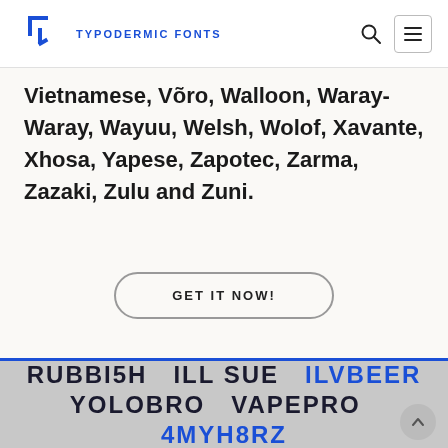TYPODERMIC FONTS
Vietnamese, Võro, Walloon, Waray-Waray, Wayuu, Welsh, Wolof, Xavante, Xhosa, Yapese, Zapotec, Zarma, Zazaki, Zulu and Zuni.
GET IT NOW!
[Figure (screenshot): Font preview showing license plate style text: RUBBI5H ILL SUE ILVBEER YOLOBRO VAPEPRO 4MYH8RZ in dark navy and blue colors on a gray background]